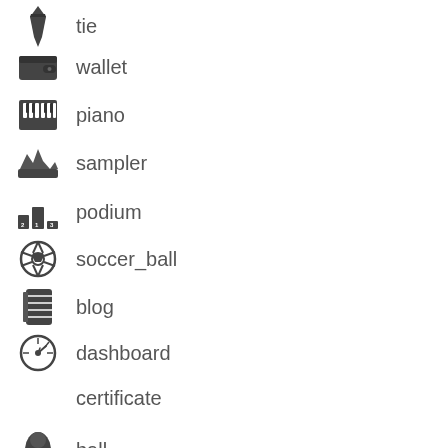tie
wallet
piano
sampler
podium
soccer_ball
blog
dashboard
certificate
ball